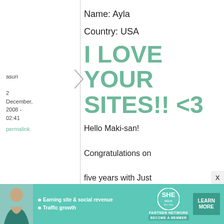Name: Ayla
Country: USA
asuri
2 December, 2008 - 02:41
permalink
I LOVE YOUR SITES!! <3
Hello Maki-san!

Congratulations on five years with Just Hungry and on Just
[Figure (infographic): Advertisement banner for SHE Media Partner Network featuring a woman photo, bullets about earning site & social revenue and traffic growth, SHE logo, and a Learn More button.]